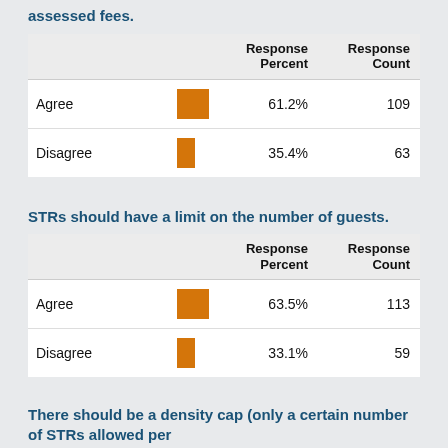assessed fees.
|  |  | Response Percent | Response Count |
| --- | --- | --- | --- |
| Agree | [bar] | 61.2% | 109 |
| Disagree | [bar] | 35.4% | 63 |
STRs should have a limit on the number of guests.
|  |  | Response Percent | Response Count |
| --- | --- | --- | --- |
| Agree | [bar] | 63.5% | 113 |
| Disagree | [bar] | 33.1% | 59 |
There should be a density cap (only a certain number of STRs allowed per